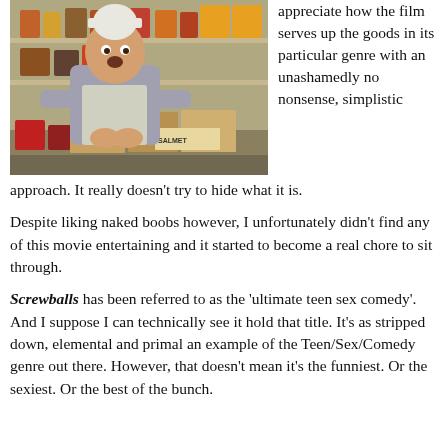[Figure (photo): A man wearing a white chef's hat and apron crouching in a stockroom/pantry surrounded by shelves with canned goods, boxes, and grocery items. A sign reads 'SALMET' on a box in the foreground.]
appreciate how the film serves up the goods in its particular genre with an unashamedly no nonsense, simplistic approach. It really doesn't try to hide what it is.
Despite liking naked boobs however, I unfortunately didn't find any of this movie entertaining and it started to become a real chore to sit through.
Screwballs has been referred to as the 'ultimate teen sex comedy'. And I suppose I can technically see it hold that title. It's as stripped down, elemental and primal an example of the Teen/Sex/Comedy genre out there. However, that doesn't mean it's the funniest. Or the sexiest. Or the best of the bunch.